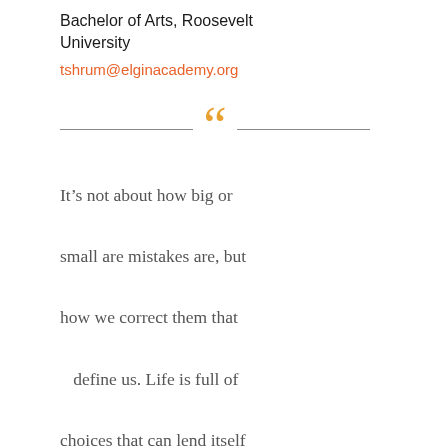Bachelor of Arts, Roosevelt University
tshrum@elginacademy.org
It’s not about how big or small are mistakes are, but how we correct them that define us. Life is full of choices that can lend itself to teaching opportunities. As a teacher I feel part of my job is to help students